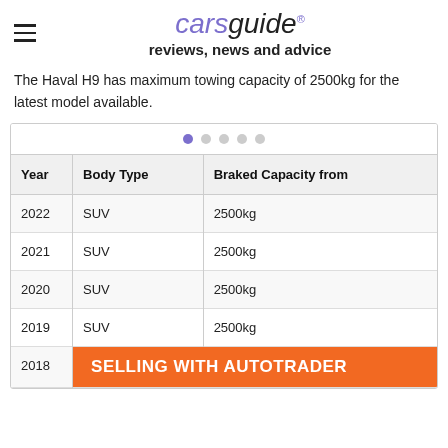carsguide reviews, news and advice
The Haval H9 has maximum towing capacity of 2500kg for the latest model available.
| Year | Body Type | Braked Capacity from |
| --- | --- | --- |
| 2022 | SUV | 2500kg |
| 2021 | SUV | 2500kg |
| 2020 | SUV | 2500kg |
| 2019 | SUV | 2500kg |
| 2018 |  |  |